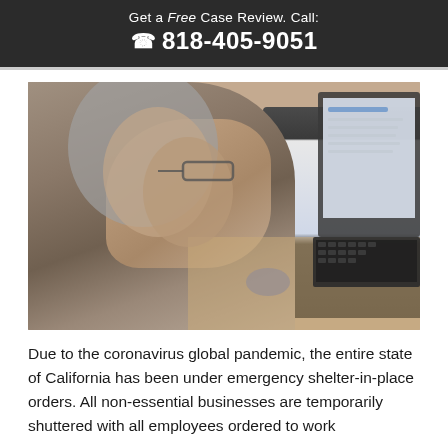Get a Free Case Review. Call: 818-405-9051
[Figure (photo): Elderly man holding glasses to his face with one hand while using a laptop computer with the other hand, seated at a wooden desk.]
Due to the coronavirus global pandemic, the entire state of California has been under emergency shelter-in-place orders. All non-essential businesses are temporarily shuttered with all employees ordered to work